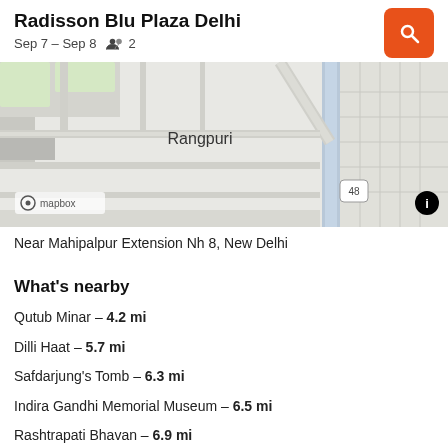Radisson Blu Plaza Delhi
Sep 7 – Sep 8   👥 2
[Figure (map): Mapbox map showing Rangpuri area near New Delhi with road network, highway 48 visible]
Near Mahipalpur Extension Nh 8, New Delhi
What's nearby
Qutub Minar – 4.2 mi
Dilli Haat – 5.7 mi
Safdarjung's Tomb – 6.3 mi
Indira Gandhi Memorial Museum – 6.5 mi
Rashtrapati Bhavan – 6.9 mi
Lodhi Garden – 7 mi